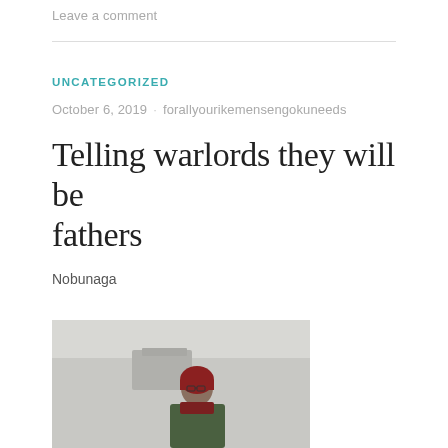Leave a comment
UNCATEGORIZED
October 6, 2019   forallyourikemensengokuneeds
Telling warlords they will be fathers
Nobunaga
[Figure (photo): Partial photo of a person with red hair wearing glasses and a green jacket, outdoors near a building structure, partially cropped at bottom of page]